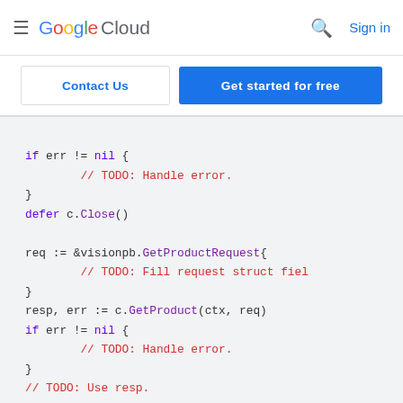Google Cloud  Sign in
Contact Us  Get started for free
[Figure (screenshot): Google Cloud documentation page showing Go code snippet with syntax highlighting. Code includes: if err != nil { // TODO: Handle error. } defer c.Close() req := &visionpb.GetProductRequest{ // TODO: Fill request struct fiel } resp, err := c.GetProduct(ctx, req) if err != nil { // TODO: Handle error. } // TODO: Use resp. _ = resp }]